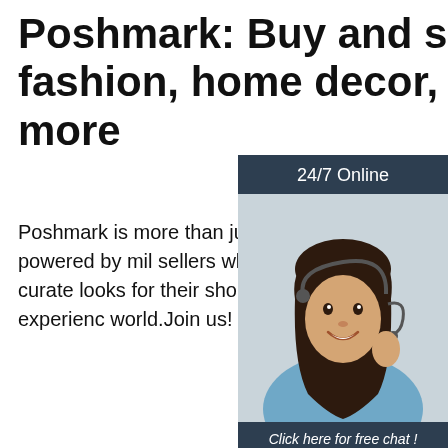Poshmark: Buy and sell fashion, home decor, beauty & more
Poshmark is more than just a shopping it's a vibrant community powered by mil sellers who not only sell their personal s also curate looks for their shoppers, cre the most connected shopping experienc world.Join us!
[Figure (illustration): Chat widget with dark header '24/7 Online', photo of a woman with headset, text 'Click here for free chat!' and orange QUOTATION button]
Get Price
[Figure (logo): TOP logo with orange dots forming an upward triangle above the word TOP in orange]